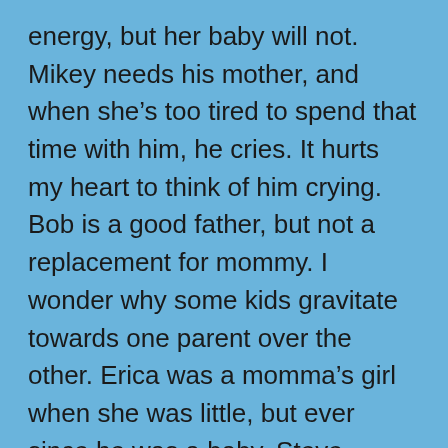energy, but her baby will not. Mikey needs his mother, and when she's too tired to spend that time with him, he cries. It hurts my heart to think of him crying. Bob is a good father, but not a replacement for mommy. I wonder why some kids gravitate towards one parent over the other. Erica was a momma's girl when she was little, but ever since he was a baby, Steve preferred Matt. He still prefers his dad over me. That hurts, like I'm being rejected even though I know he loves me. What did Matt feel when Erica clung to me instead of to him? I never thought of looking at it